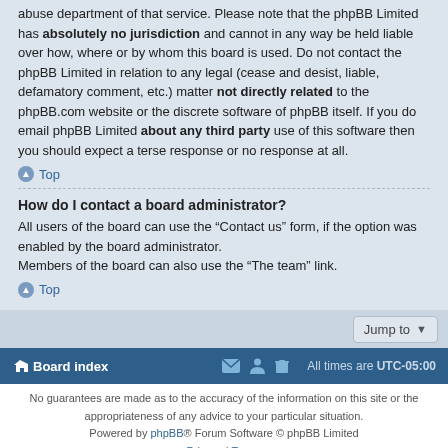abuse department of that service. Please note that the phpBB Limited has absolutely no jurisdiction and cannot in any way be held liable over how, where or by whom this board is used. Do not contact the phpBB Limited in relation to any legal (cease and desist, liable, defamatory comment, etc.) matter not directly related to the phpBB.com website or the discrete software of phpBB itself. If you do email phpBB Limited about any third party use of this software then you should expect a terse response or no response at all.
Top
How do I contact a board administrator?
All users of the board can use the “Contact us” form, if the option was enabled by the board administrator.
Members of the board can also use the “The team” link.
Top
Jump to
Board index | All times are UTC-05:00
No guarantees are made as to the accuracy of the information on this site or the appropriateness of any advice to your particular situation.
Powered by phpBB® Forum Software © phpBB Limited
Privacy | Terms
Time: 0.225s | Peak Memory Usage: 9.76 MiB | GZIP: Off